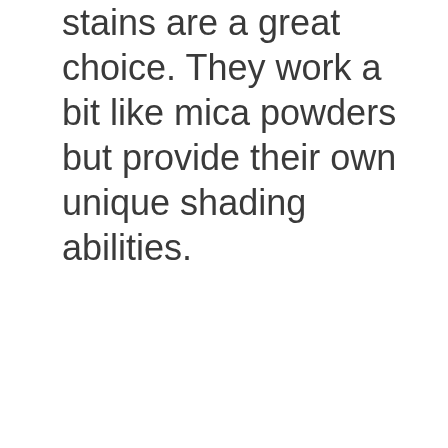stains are a great choice. They work a bit like mica powders but provide their own unique shading abilities.